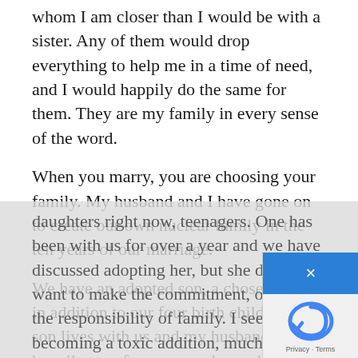I have many friends from childhood with whom I am closer than I would be with a sister. Any of them would drop everything to help me in a time of need, and I would happily do the same for them. They are my family in every sense of the word.
When you marry, you are choosing your family. My husband and I have gone on to create our own nuclear family in the ten years of our marriage.
We have an adopted son, a chosen child, in addition to our four birth children. His son lives with us and my husband and I happily care for our grandson while his father serves in Iraq. We have two foster daughters right now, teenagers. One has been with us for over a year and we have discussed adopting her, but she does not want to make the commitment, or accept the responsibility of family. I see her becoming a toxic addition, much as